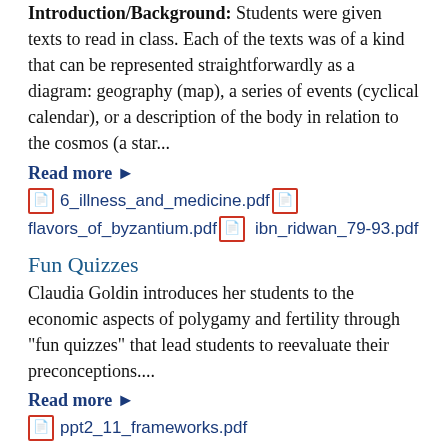Introduction/Background: Students were given texts to read in class. Each of the texts was of a kind that can be represented straightforwardly as a diagram: geography (map), a series of events (cyclical calendar), or a description of the body in relation to the cosmos (a star...
Read more ▶
6_illness_and_medicine.pdf  flavors_of_byzantium.pdf  ibn_ridwan_79-93.pdf
Fun Quizzes
Claudia Goldin introduces her students to the economic aspects of polygamy and fertility through "fun quizzes" that lead students to reevaluate their preconceptions....
Read more ▶
ppt2_11_frameworks.pdf
Thesis Critique
What does a good thesis entail?  This activity helps students identify the features of a strong thesis.... Read